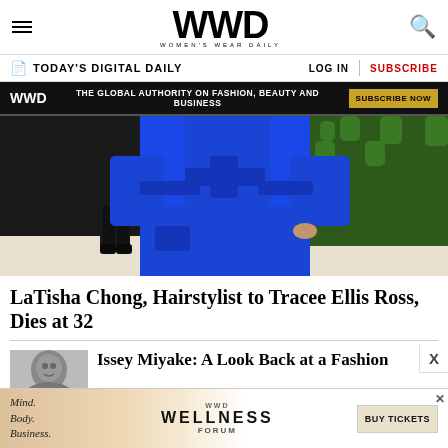WWD — Women's Wear Daily
TODAY'S DIGITAL DAILY | LOG IN | SUBSCRIBE
WWD — THE GLOBAL AUTHORITY ON FASHION, BEAUTY AND BUSINESS — SUBSCRIBE NOW
[Figure (photo): Person wearing a bright royal blue satin robe/coat with a belt, photographed from the torso down, with a green hedge visible in the background]
LaTisha Chong, Hairstylist to Tracee Ellis Ross, Dies at 32
[Figure (photo): Black and white headshot thumbnail of a man]
Issey Miyake: A Look Back at a Fashion
[Figure (infographic): WWD Wellness Forum advertisement banner: Mind. Body. Business. — BUY TICKETS]